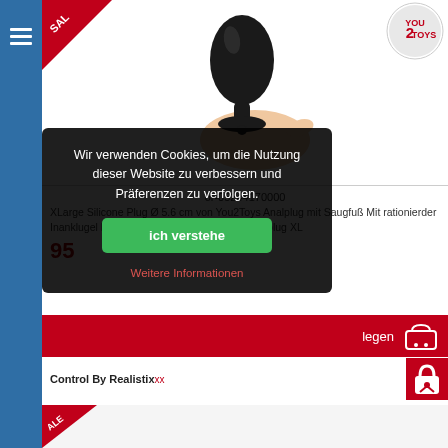[Figure (photo): Product page of an e-commerce website selling adult toys. Shows a black silicone anal plug held in a hand, with a SALE ribbon in top-left corner and You2Toys logo in top-right.]
or-05244170000
XLarge Silicone Plug Ø 5.6 cm von You2Toys Analplug mit Saugfuß Mit rationierder Inanklugel Breite, sichere Basis schwarze Analplug XL
95
legen
Control By Realisticxx
Wir verwenden Cookies, um die Nutzung dieser Website zu verbessern und Präferenzen zu verfolgen.
ich verstehe
Weitere Informationen